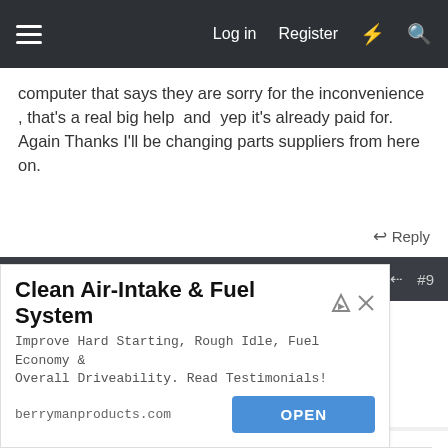Log in  Register
computer that says they are sorry for the inconvenience , that's a real big help  and  yep it's already paid for. Again Thanks I'll be changing parts suppliers from here on.
Reply
Oct 27, 2020  #9
goodnigh
Well-known member  Staff member
7173 Mustang Supporter Member  Moderator
Don of OMS for sure.  Half the parts of my Mustang came from
[Figure (screenshot): Advertisement banner: Clean Air-Intake & Fuel System. Improve Hard Starting, Rough Idle, Fuel Economy & Overall Driveability. Read Testimonials! berrymanproducts.com OPEN button.]